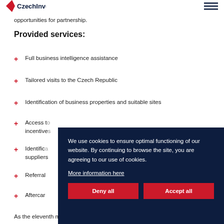[CzechInvest logo] [hamburger menu]
opportunities for partnership.
Provided services:
Full business intelligence assistance
Tailored visits to the Czech Republic
Identification of business properties and suitable sites
Access to... incentive...
Identification of... suppliers...
Referral...
Aftercar...
We use cookies to ensure optimal functioning of our website. By continuing to browse the site, you are agreeing to our use of cookies. More information here
As the eleventh most developed country in the world, South Korea